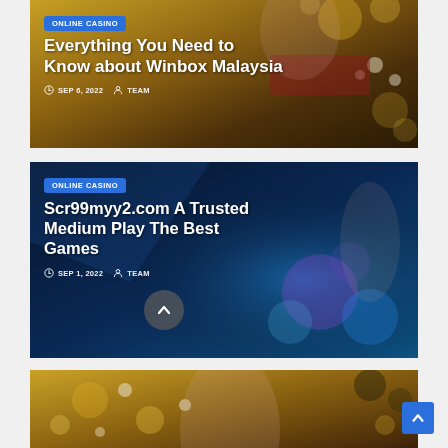[Figure (photo): Online casino blog card 1: Asian woman with decorative golden background, 'Everything You Need to Know about Winbox Malaysia', SEP 6, 2022, TEAM]
ONLINE CASINO
Everything You Need to Know about Winbox Malaysia
SEP 6, 2022   TEAM
[Figure (photo): Online casino blog card 2: Dark blue gaming background with person holding dice, 'Scr99myy2.com A Trusted Medium Play The Best Games', SEP 1, 2022, TEAM]
ONLINE CASINO
Scr99myy2.com A Trusted Medium Play The Best Games
SEP 1, 2022   TEAM
[Figure (photo): Online casino blog card 3: Asian woman with golden decorative floral background, partially visible at bottom]